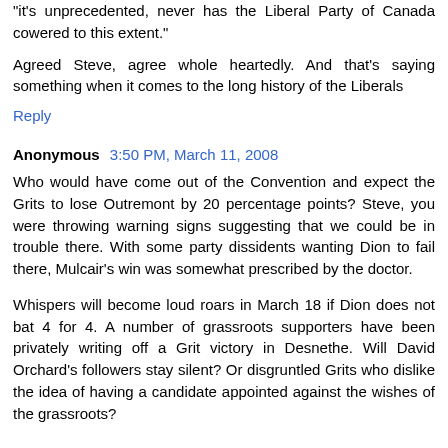"it's unprecedented, never has the Liberal Party of Canada cowered to this extent."
Agreed Steve, agree whole heartedly. And that's saying something when it comes to the long history of the Liberals
Reply
Anonymous 3:50 PM, March 11, 2008
Who would have come out of the Convention and expect the Grits to lose Outremont by 20 percentage points? Steve, you were throwing warning signs suggesting that we could be in trouble there. With some party dissidents wanting Dion to fail there, Mulcair's win was somewhat prescribed by the doctor.
Whispers will become loud roars in March 18 if Dion does not bat 4 for 4. A number of grassroots supporters have been privately writing off a Grit victory in Desnethe. Will David Orchard's followers stay silent? Or disgruntled Grits who dislike the idea of having a candidate appointed against the wishes of the grassroots?